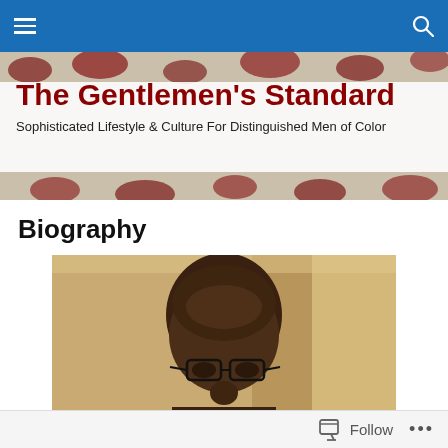Navigation bar with hamburger menu and search icon
The Gentlemen's Standard
Sophisticated Lifestyle & Culture For Distinguished Men of Color
Biography
[Figure (photo): Portrait photo of a bald Black man wearing glasses, photographed indoors]
Follow ...